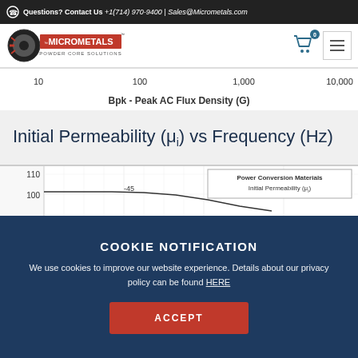Questions? Contact Us +1(714) 970-9400 | Sales@Micrometals.com
[Figure (logo): Micrometals Powder Core Solutions logo with navigation bar, shopping cart and hamburger menu]
[Figure (continuous-plot): Partial view of a chart showing x-axis with values 10, 100, 1,000, 10,000 and label 'Bpk - Peak AC Flux Density (G)']
Initial Permeability (μi) vs Frequency (Hz)
[Figure (continuous-plot): Partial chart showing Initial Permeability vs Frequency with y-axis values 110, 100 visible, legend showing 'Power Conversion Materials Initial Permeability (μi)' and a curve labeled -45]
COOKIE NOTIFICATION
We use cookies to improve our website experience. Details about our privacy policy can be found HERE
ACCEPT